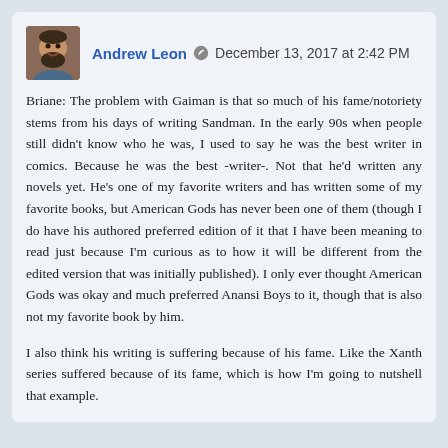[Figure (photo): Avatar photo of Andrew Leon, a bearded man smiling]
Andrew Leon  December 13, 2017 at 2:42 PM
Briane: The problem with Gaiman is that so much of his fame/notoriety stems from his days of writing Sandman. In the early 90s when people still didn't know who he was, I used to say he was the best writer in comics. Because he was the best -writer-. Not that he'd written any novels yet. He's one of my favorite writers and has written some of my favorite books, but American Gods has never been one of them (though I do have his authored preferred edition of it that I have been meaning to read just because I'm curious as to how it will be different from the edited version that was initially published). I only ever thought American Gods was okay and much preferred Anansi Boys to it, though that is also not my favorite book by him.

I also think his writing is suffering because of his fame. Like the Xanth series suffered because of its fame, which is how I'm going to nutshell that example.